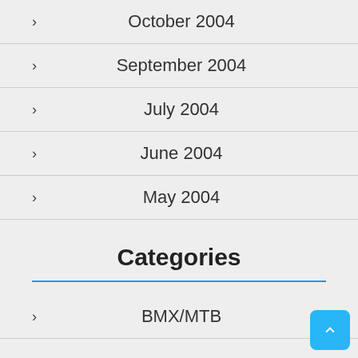October 2004
September 2004
July 2004
June 2004
May 2004
Categories
BMX/MTB